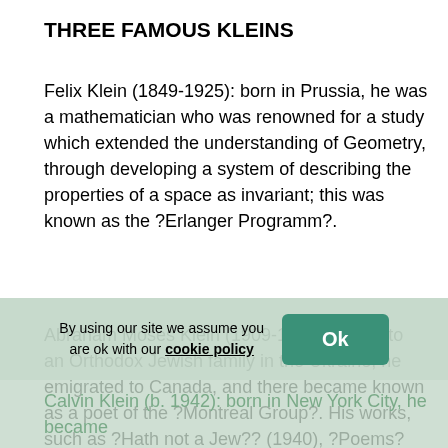THREE FAMOUS KLEINS
Felix Klein (1849-1925): born in Prussia, he was a mathematician who was renowned for a study which extended the understanding of Geometry, through developing a system of describing the properties of a space as invariant; this was known as the ?Erlanger Programm?.
Abraham Moses Klein (1909-1972): born into an Orthodox Jewish family in the Ukraine, he emigrated to Canada, and there became known as a poet of the ?Montreal Group?. His works, such as ?Hath not a Jew?? (1940), ?Poems? (1944) and the ?Hitleriad? (1944) focused on persecution of the Jews by the Nazis. He was an arder...
Calvin Klein (b. 1942): born in New York City, he became...